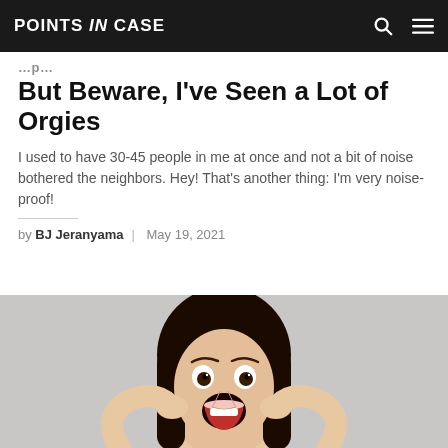POINTS IN CASE
But Beware, I've Seen a Lot of Orgies
I used to have 30-45 people in me at once and not a bit of noise bothered the neighbors. Hey! That's another thing: I'm very noise-proof!
by BJ Jeranyama | May 19, 2021
[Figure (photo): Woman with dark hair screaming or expressing shock/surprise with hands raised, against a light grey background.]